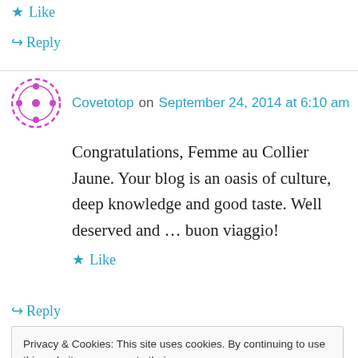★ Like
↪ Reply
Covetotop on September 24, 2014 at 6:10 am
Congratulations, Femme au Collier Jaune. Your blog is an oasis of culture, deep knowledge and good taste. Well deserved and … buon viaggio!
★ Like
↪ Reply
Privacy & Cookies: This site uses cookies. By continuing to use this website, you agree to their use. To find out more, including how to control cookies, see here: Cookie Policy